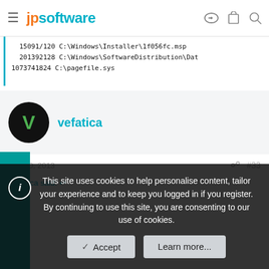jpsoftware
15091/120 C:\Windows\Installer\1f056fc.msp
  201392128 C:\Windows\SoftwareDistribution\Dat
1073741824 C:\pagefile.sys
vefatica
Aug 30, 2013
#33
vefatica said:
This site uses cookies to help personalise content, tailor your experience and to keep you logged in if you register.
By continuing to use this site, you are consenting to our use of cookies.
Accept
Learn more...